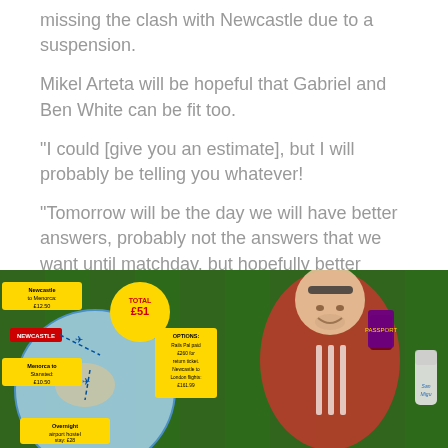missing the clash with Newcastle due to a suspension.
Mikel Arteta will be hopeful that Gabriel and Ben White can be fit too.
"I could [give you an estimate], but I will probably be telling you whatever!
"Tomorrow will be the day we will have better answers, probably not the answers that we want until matchday, but hopefully better answers."
Most read in Football
[Figure (photo): A man in a red football shirt holding a passport and a can of San Miguel beer, celebrating in front of a green grass background. In the bottom left corner there is an infographic showing a travel route with costs: Newcastle to Menorca £12.50, Menorca to Stansted £10.50, Overnight airport hostel stay £28, Total £51, with options noting Rails Pal paid £260 for return tickets, Newcastle to London flights £161.99.]